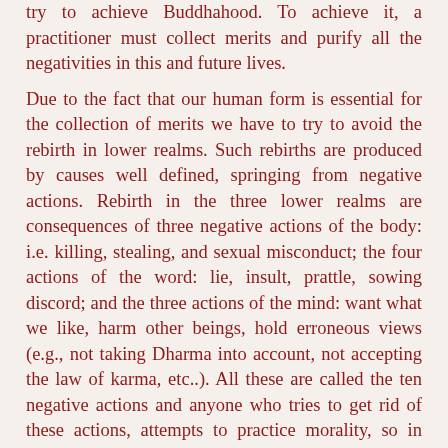try to achieve Buddhahood. To achieve it, a practitioner must collect merits and purify all the negativities in this and future lives.
Due to the fact that our human form is essential for the collection of merits we have to try to avoid the rebirth in lower realms. Such rebirths are produced by causes well defined, springing from negative actions. Rebirth in the three lower realms are consequences of three negative actions of the body: i.e. killing, stealing, and sexual misconduct; the four actions of the word: lie, insult, prattle, sowing discord; and the three actions of the mind: want what we like, harm other beings, hold erroneous views (e.g., not taking Dharma into account, not accepting the law of karma, etc..). All these are called the ten negative actions and anyone who tries to get rid of these actions, attempts to practice morality, so in order to have a continuous succession of human lives we must engage in the practice of morality.
When we speak of a person as good or bad, it is in regard